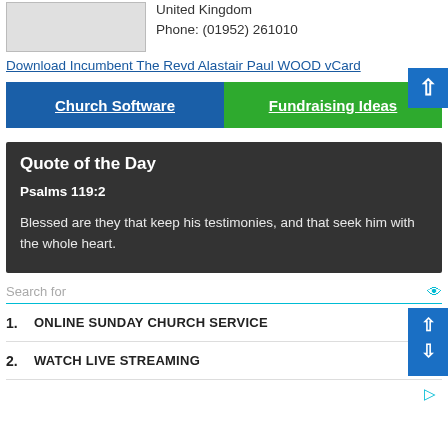[Figure (photo): Placeholder image box (grey rectangle)]
United Kingdom
Phone: (01952) 261010
Download Incumbent The Revd Alastair Paul WOOD vCard
Church Software
Fundraising Ideas
Quote of the Day
Psalms 119:2
Blessed are they that keep his testimonies, and that seek him with the whole heart.
Search for
1. ONLINE SUNDAY CHURCH SERVICE
2. WATCH LIVE STREAMING